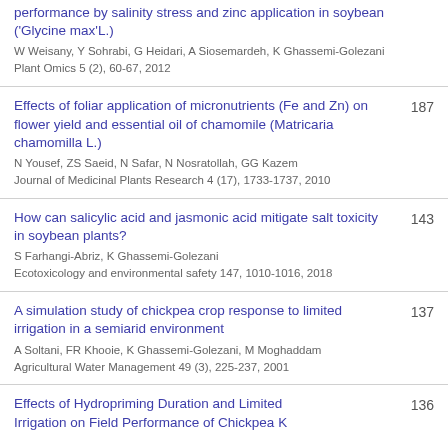performance by salinity stress and zinc application in soybean ('Glycine max'L.)
W Weisany, Y Sohrabi, G Heidari, A Siosemardeh, K Ghassemi-Golezani
Plant Omics 5 (2), 60-67, 2012
Effects of foliar application of micronutrients (Fe and Zn) on flower yield and essential oil of chamomile (Matricaria chamomilla L.)
N Yousef, ZS Saeid, N Safar, N Nosratollah, GG Kazem
Journal of Medicinal Plants Research 4 (17), 1733-1737, 2010
How can salicylic acid and jasmonic acid mitigate salt toxicity in soybean plants?
S Farhangi-Abriz, K Ghassemi-Golezani
Ecotoxicology and environmental safety 147, 1010-1016, 2018
A simulation study of chickpea crop response to limited irrigation in a semiarid environment
A Soltani, FR Khooie, K Ghassemi-Golezani, M Moghaddam
Agricultural Water Management 49 (3), 225-237, 2001
Effects of Hydropriming Duration and Limited Irrigation on Field Performance of Chickpea...